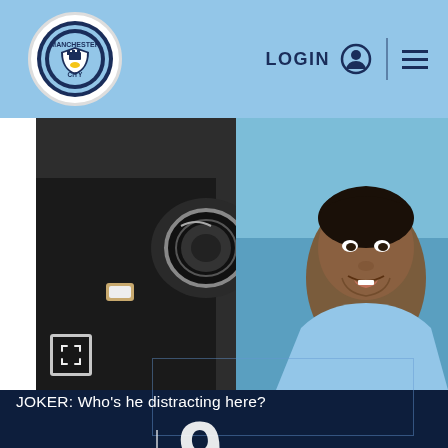Manchester City | LOGIN
[Figure (photo): A woman holding a large professional camera/lens in dark clothing with a watch, and a smiling young man in a light blue Manchester City football kit in the background]
JOKER: Who's he distracting here?
9